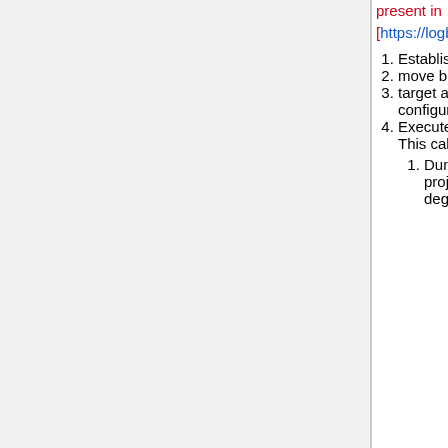present in [https://logbooks.jlab.org/entry/3687977
Establish beam, 5uA beam, 4x4 raster, on lead target.
move beam to x=+1mm (relative to collimator center)
target and dump ion chamber setpoints can be set high this configuration
Execute thick target Ion Chamber calibration, From Atlis 19326. This calibration will be used to set ion chamber setpoints.
Dump and Near-target ICs: set for 45 degree targets by projecting ion chamber setpoints for 20uA current or 90 degree targets by projecting to 70uA current.